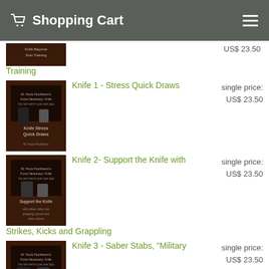Shopping Cart
US$ 23.50
Training
[Figure (photo): Knife Stress Quick Draws training DVD cover]
Knife 1 - Stress Quick Draws
single price: US$ 23.50
[Figure (photo): Support the Knife training DVD cover]
Knife 2- Support the Knife with
single price: US$ 23.50
Strikes, Kicks and Grappling
[Figure (photo): The Saber Stab Military Quicker Kills training DVD cover]
Knife 3 - Saber Stabs, "Military
single price: US$ 23.50
Quicker Kills"
[Figure (photo): The Reverse Grip Stab training DVD cover]
Knife 4 - Reverse Grip, Claw of the
single price: US$ 23.50
Cat
[Figure (photo): Training DVD cover - partial view at bottom]